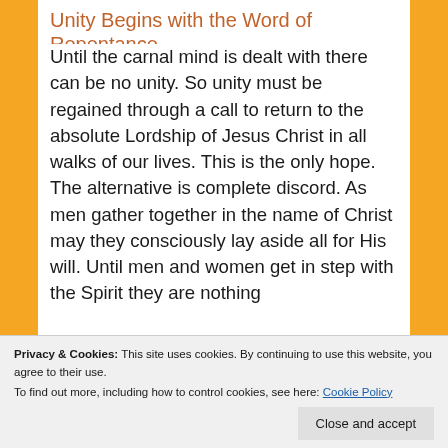Unity Begins with the Word of Repentance
Until the carnal mind is dealt with there can be no unity. So unity must be regained through a call to return to the absolute Lordship of Jesus Christ in all walks of our lives. This is the only hope. The alternative is complete discord. As men gather together in the name of Christ may they consciously lay aside all for His will. Until men and women get in step with the Spirit they are nothing
Privacy & Cookies: This site uses cookies. By continuing to use this website, you agree to their use.
To find out more, including how to control cookies, see here: Cookie Policy